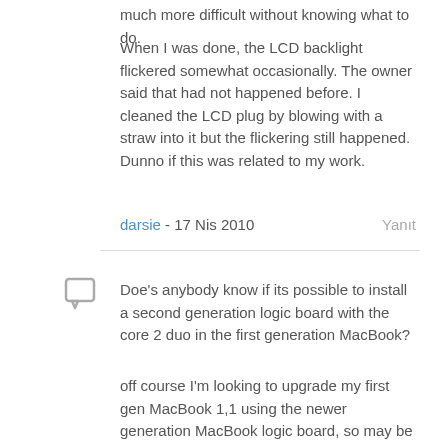much more difficult without knowing what to do.
When I was done, the LCD backlight flickered somewhat occasionally. The owner said that had not happened before. I cleaned the LCD plug by blowing with a straw into it but the flickering still happened. Dunno if this was related to my work.
darsie - 17 Nis 2010    Yanıt
Doe's anybody know if its possible to install a second generation logic board with the core 2 duo in the first generation MacBook?
off course I'm looking to upgrade my first gen MacBook 1,1 using the newer generation MacBook logic board, so may be one of you know whether this process is possible...
Thank you :-)
Dudi - 7 May 2010    Yanıt
One note on the fan replacement, or really any